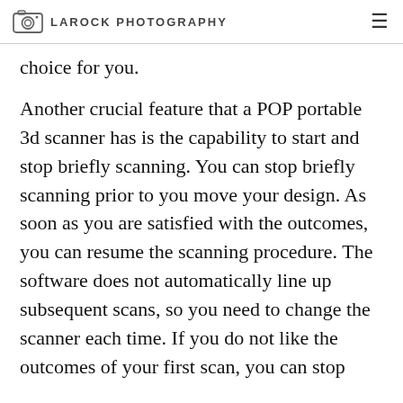LAROCK PHOTOGRAPHY
choice for you.
Another crucial feature that a POP portable 3d scanner has is the capability to start and stop briefly scanning. You can stop briefly scanning prior to you move your design. As soon as you are satisfied with the outcomes, you can resume the scanning procedure. The software does not automatically line up subsequent scans, so you need to change the scanner each time. If you do not like the outcomes of your first scan, you can stop